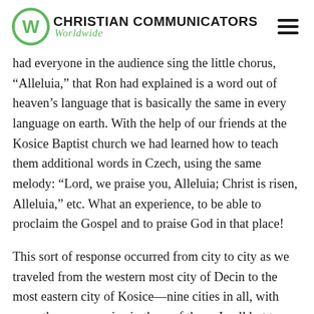Christian Communicators Worldwide
had everyone in the audience sing the little chorus, “Alleluia,” that Ron had explained is a word out of heaven’s language that is basically the same in every language on earth. With the help of our friends at the Kosice Baptist church we had learned how to teach them additional words in Czech, using the same melody: “Lord, we praise you, Alleluia; Christ is risen, Alleluia,” etc. What an experience, to be able to proclaim the Gospel and to praise God in that place!
This sort of response occurred from city to city as we traveled from the western most city of Decin to the most eastern city of Kosice—nine cities in all, with more than one service in three of them. In all but two